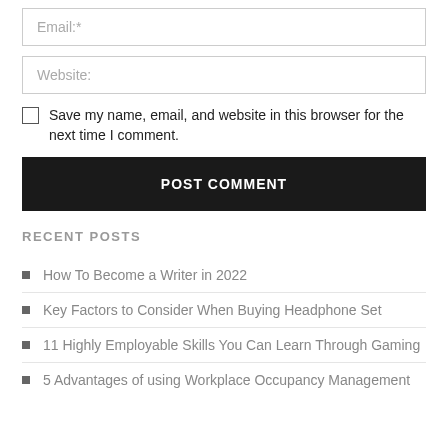Email:*
Website:
Save my name, email, and website in this browser for the next time I comment.
POST COMMENT
RECENT POSTS
How To Become a Writer in 2022
Key Factors to Consider When Buying Headphone Set
11 Highly Employable Skills You Can Learn Through Gaming
5 Advantages of using Workplace Occupancy Management